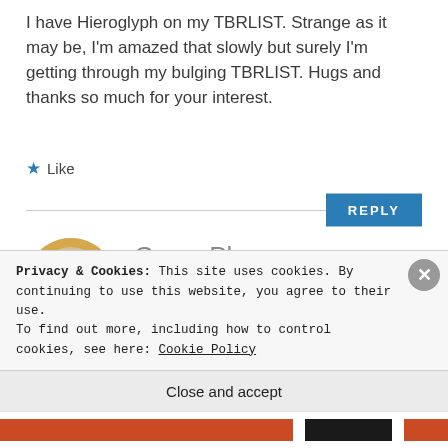I have Hieroglyph on my TBRLIST. Strange as it may be, I'm amazed that slowly but surely I'm getting through my bulging TBRLIST. Hugs and thanks so much for your interest.
★ Like
REPLY
Gwen Plano
APRIL 23, 2017 AT 11:30
Privacy & Cookies: This site uses cookies. By continuing to use this website, you agree to their use.
To find out more, including how to control cookies, see here: Cookie Policy
Close and accept